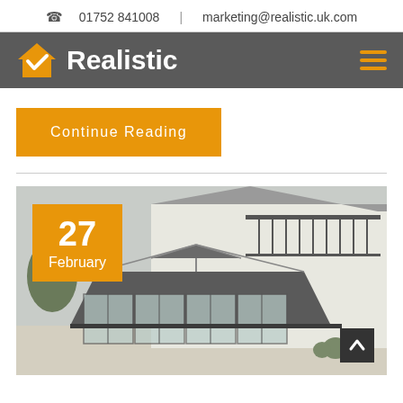01752 841008 | marketing@realistic.uk.com
[Figure (logo): Realistic company logo with orange house/checkmark icon and white bold text 'Realistic' on dark grey navbar background, with orange hamburger menu icon on right]
Continue Reading
[Figure (photo): Exterior photo of a modern orangery/glass extension with grey roof lantern and sliding glass doors attached to a white house. Date badge showing '27 February' in orange overlay on top-left corner.]